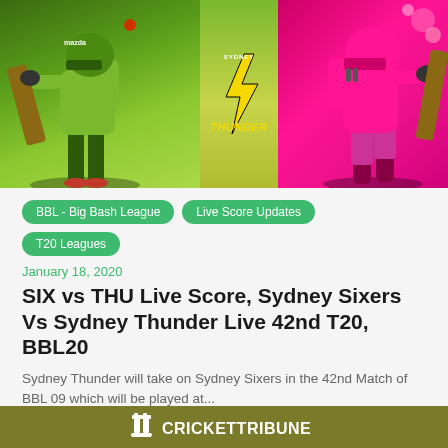[Figure (photo): Hero banner image showing cricket players: left side player in green/yellow Sydney Thunder kit batting, center has Sydney Thunder lightning bolt logo, right side player in pink/magenta kit batting]
BBL - Big Bash League
Live Score Updates
T20 Leagues
January 18, 2020
SIX vs THU Live Score, Sydney Sixers Vs Sydney Thunder Live 42nd T20, BBL20
Sydney Thunder will take on Sydney Sixers in the 42nd Match of BBL 09 which will be played at...
CRICKETTRIBUNE